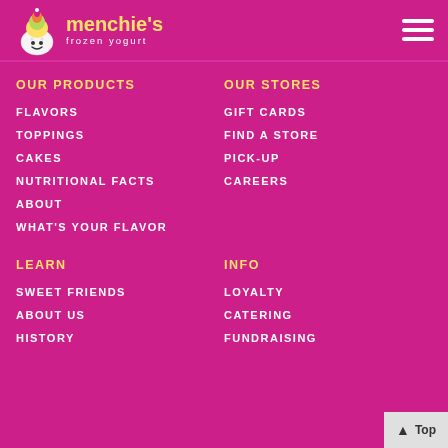[Figure (logo): Menchie's Frozen Yogurt logo with cartoon ice cream character and yellow-green stylized text]
OUR PRODUCTS
FLAVORS
TOPPINGS
CAKES
NUTRITIONAL FACTS
ABOUT
WHAT'S YOUR FLAVOR
OUR STORES
GIFT CARDS
FIND A STORE
PICK-UP
CAREERS
LEARN
SWEET FRIENDS
ABOUT US
HISTORY
INFO
LOYALTY
CATERING
FUNDRAISING